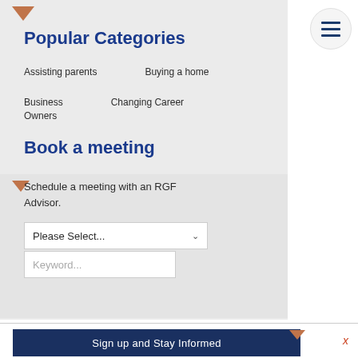Popular Categories
Assisting parents    Buying a home

Business Owners    Changing Career
Book a meeting
Schedule a meeting with an RGF Advisor.
[Figure (screenshot): Dropdown select box showing 'Please Select...' with chevron arrow, and a keyword search input field below]
Sign up and Stay Informed
x